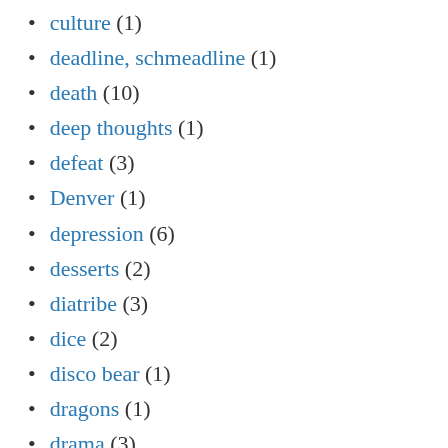culture (1)
deadline, schmeadline (1)
death (10)
deep thoughts (1)
defeat (3)
Denver (1)
depression (6)
desserts (2)
diatribe (3)
dice (2)
disco bear (1)
dragons (1)
drama (3)
drawing (1)
dreams (2)
drinking (7)